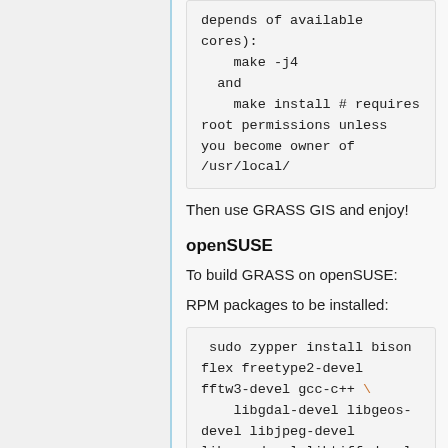depends of available cores):
    make -j4
  and
    make install # requires root permissions unless you become owner of /usr/local/
Then use GRASS GIS and enjoy!
openSUSE
To build GRASS on openSUSE:
RPM packages to be installed:
sudo zypper install bison flex freetype2-devel fftw3-devel gcc-c++ \
    libgdal-devel libgeos-devel libjpeg-devel libpng-devel libtiff-devel \